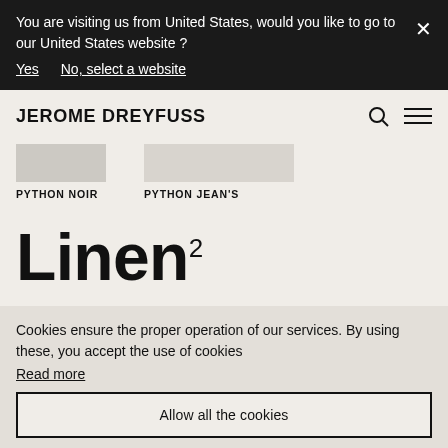You are visiting us from United States, would you like to go to our United States website ?
Yes
No, select a website
JEROME DREYFUSS
PYTHON NOIR
PYTHON JEAN'S
Linen 2
Llinen, this woven-in-France canvas is built to last thanks to a basket weave
Cookies ensure the proper operation of our services. By using these, you accept the use of cookies
Read more
Allow all the cookies